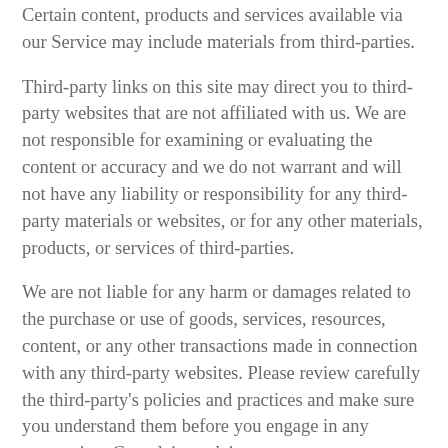Certain content, products and services available via our Service may include materials from third-parties.
Third-party links on this site may direct you to third-party websites that are not affiliated with us. We are not responsible for examining or evaluating the content or accuracy and we do not warrant and will not have any liability or responsibility for any third-party materials or websites, or for any other materials, products, or services of third-parties.
We are not liable for any harm or damages related to the purchase or use of goods, services, resources, content, or any other transactions made in connection with any third-party websites. Please review carefully the third-party's policies and practices and make sure you understand them before you engage in any transaction. Complaints, claims, concerns, or questions regarding third-party products should be directed to the